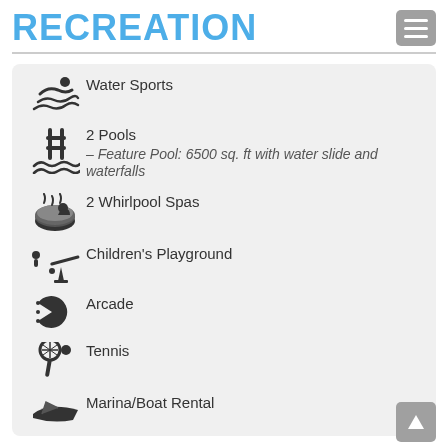Recreation
Water Sports
2 Pools – Feature Pool: 6500 sq. ft with water slide and waterfalls
2 Whirlpool Spas
Children's Playground
Arcade
Tennis
Marina/Boat Rental